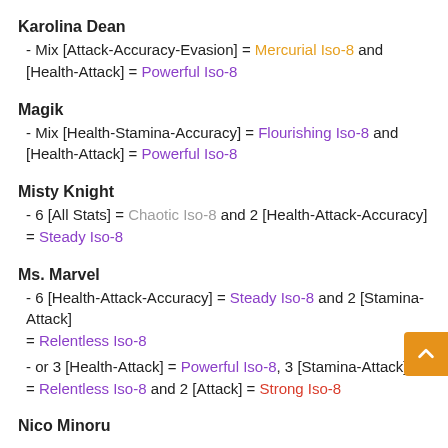Karolina Dean
- Mix [Attack-Accuracy-Evasion] = Mercurial Iso-8 and [Health-Attack] = Powerful Iso-8
Magik
- Mix [Health-Stamina-Accuracy] = Flourishing Iso-8 and [Health-Attack] = Powerful Iso-8
Misty Knight
- 6 [All Stats] = Chaotic Iso-8 and 2 [Health-Attack-Accuracy] = Steady Iso-8
Ms. Marvel
- 6 [Health-Attack-Accuracy] = Steady Iso-8 and 2 [Stamina-Attack] = Relentless Iso-8
- or 3 [Health-Attack] = Powerful Iso-8, 3 [Stamina-Attack] = Relentless Iso-8 and 2 [Attack] = Strong Iso-8
Nico Minoru